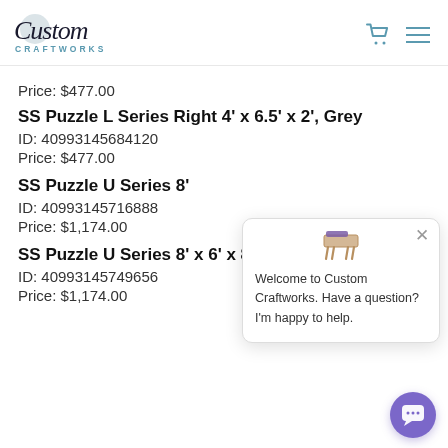Custom Craftworks — logo and navigation
Price: $477.00
SS Puzzle L Series Right 4' x 6.5' x 2', Grey
ID: 40993145684120
Price: $477.00
SS Puzzle U Series 8'
ID: 40993145716888
Price: $1,174.00
SS Puzzle U Series 8' x 6' x 8' x 2', Brown
ID: 40993145749656
Price: $1,174.00
[Figure (screenshot): Chat popup widget: Welcome to Custom Craftworks. Have a question? I'm happy to help.]